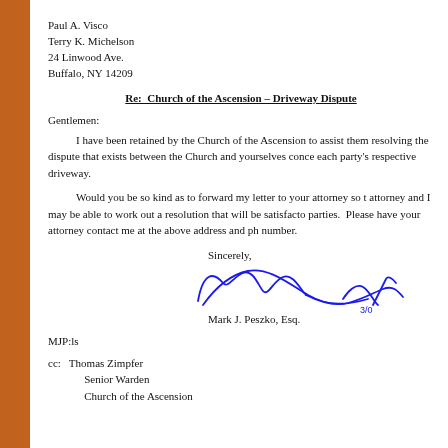Paul A. Visco
Terry K. Michelson
24 Linwood Ave.
Buffalo, NY 14209
Re:  Church of the Ascension – Driveway Dispute
Gentlemen:
I have been retained by the Church of the Ascension to assist them resolving the dispute that exists between the Church and yourselves concerning each party's respective driveway.
Would you be so kind as to forward my letter to your attorney so that attorney and I may be able to work out a resolution that will be satisfactory to all parties. Please have your attorney contact me at the above address and phone number.
Sincerely,
[Figure (illustration): Handwritten cursive signature of Mark J. Peszko, Esq. in blue ink]
Mark J. Peszko, Esq.
MJP:ls
cc:  Thomas Zimpfer
     Senior Warden
     Church of the Ascension